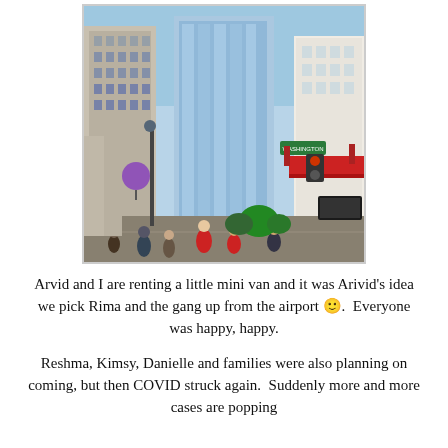[Figure (photo): Urban street scene with tall skyscrapers and glass buildings, busy sidewalk with pedestrians, red awnings and street signs visible, HDR-style photography]
Arvid and I are renting a little mini van and it was Arivid's idea we pick Rima and the gang up from the airport 🙂.  Everyone was happy, happy.
Reshma, Kimsy, Danielle and families were also planning on coming, but then COVID struck again.  Suddenly more and more cases are popping